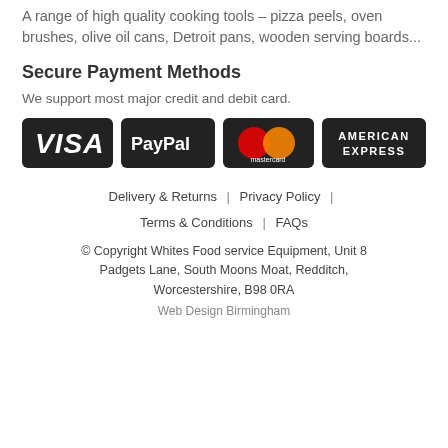A range of high quality cooking tools – pizza peels, oven brushes, olive oil cans, Detroit pans, wooden serving boards...
Secure Payment Methods
We support most major credit and debit card.
[Figure (other): Payment method logos: VISA, PayPal, Mastercard, American Express — white text on black rounded-rectangle badges]
Delivery & Returns | Privacy Policy | Terms & Conditions | FAQs
© Copyright Whites Food service Equipment, Unit 8 Padgets Lane, South Moons Moat, Redditch, Worcestershire, B98 0RA
Web Design Birmingham